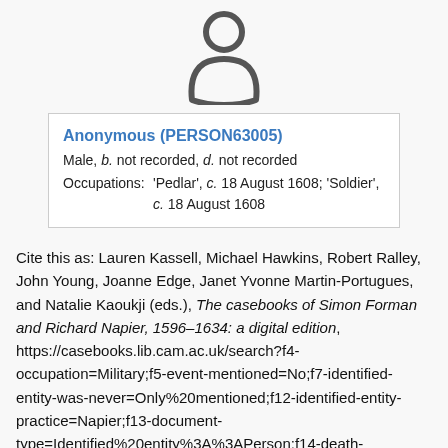[Figure (illustration): Generic person silhouette / avatar icon in dark gray, centered at top of page]
| Anonymous (PERSON63005) |
| Male, b. not recorded, d. not recorded |
| Occupations: | 'Pedlar', c. 18 August 1608; 'Soldier', c. 18 August 1608 |
Cite this as: Lauren Kassell, Michael Hawkins, Robert Ralley, John Young, Joanne Edge, Janet Yvonne Martin-Portugues, and Natalie Kaoukji (eds.), The casebooks of Simon Forman and Richard Napier, 1596–1634: a digital edition, https://casebooks.lib.cam.ac.uk/search?f4-occupation=Military;f5-event-mentioned=No;f7-identified-entity-was-never=Only%20mentioned;f12-identified-entity-practice=Napier;f13-document-type=Identified%20entity%3A%3APerson;f14-death-cert=Not%20recorded;f15-identified-entity-was-